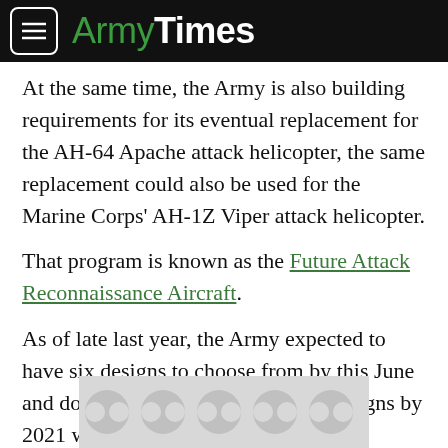ArmyTimes
At the same time, the Army is also building requirements for its eventual replacement for the AH-64 Apache attack helicopter, the same replacement could also be used for the Marine Corps' AH-1Z Viper attack helicopter.
That program is known as the Future Attack Reconnaissance Aircraft.
As of late last year, the Army expected to have six designs to choose from by this June and down select to two competing designs by 2021 with flyoffs by late 2023. Defense News reported The FARA could also...
[Figure (other): Advertisement placeholder with repeating circular pattern in grey]